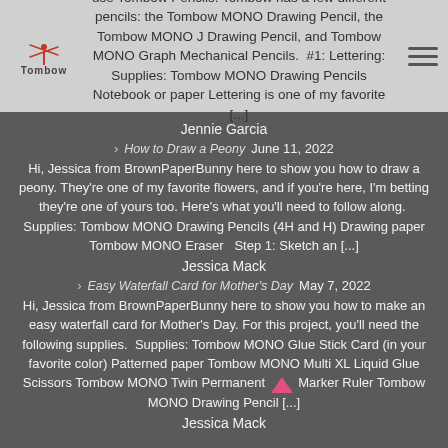use Tombow Pencils. Tombow has a few different pencils: the Tombow MONO Drawing Pencil, the Tombow MONO J Drawing Pencil, and Tombow MONO Graph Mechanical Pencils. #1: Lettering: Supplies: Tombow MONO Drawing Pencils Notebook or paper Lettering is one of my favorite [...]
Jennie Garcia
How to Draw a Peony June 11, 2022
Hi, Jessica from BrownPaperBunny here to show you how to draw a peony. They're one of my favorite flowers, and if you're here, I'm betting they're one of yours too. Here's what you'll need to follow along. Supplies: Tombow MONO Drawing Pencils (4H and H) Drawing paper Tombow MONO Eraser  Step 1: Sketch an [...]
Jessica Mack
Easy Waterfall Card for Mother's Day May 7, 2022
Hi, Jessica from BrownPaperBunny here to show you how to make an easy waterfall card for Mother's Day. For this project, you'll need the following supplies. Supplies: Tombow MONO Glue Stick Card (in your favorite color) Patterned paper Tombow MONO Multi XL Liquid Glue Scissors Tombow MONO Twin Permanent Marker Ruler Tombow MONO Drawing Pencil [...]
Jessica Mack